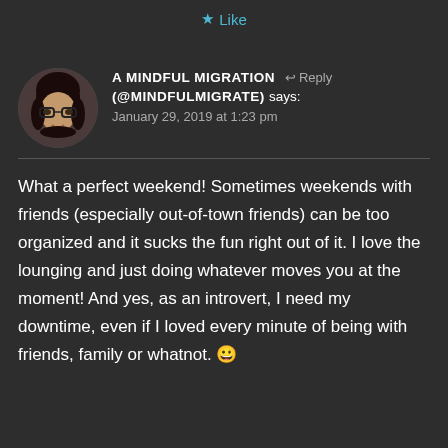★ Like
A MINDFUL MIGRATION (@MINDFULMIGRATE) says:
January 29, 2019 at 1:23 pm
What a perfect weekend! Sometimes weekends with friends (especially out-of-town friends) can be too organized and it sucks the fun right out of it. I love the lounging and just doing whatever moves you at the moment! And yes, as an introvert, I need my downtime, even if I loved every minute of being with friends, family or whatnot. 😀